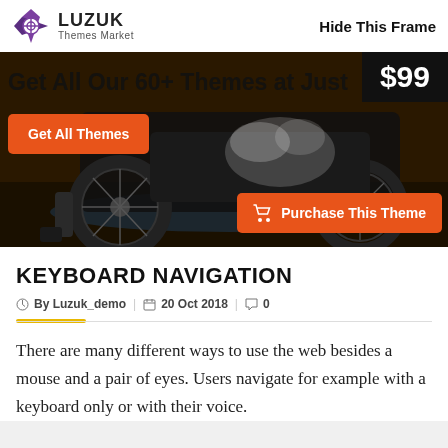LUZUK Themes Market | Hide This Frame
[Figure (photo): Hero image of motorcycle being washed with water spray, showing license plate ML10 A5505. Overlaid with orange buttons: 'Get All Themes' and 'Purchase This Theme', and a $99 price badge in black.]
KEYBOARD NAVIGATION
By Luzuk_demo | 20 Oct 2018 | 0
There are many different ways to use the web besides a mouse and a pair of eyes. Users navigate for example with a keyboard only or with their voice.